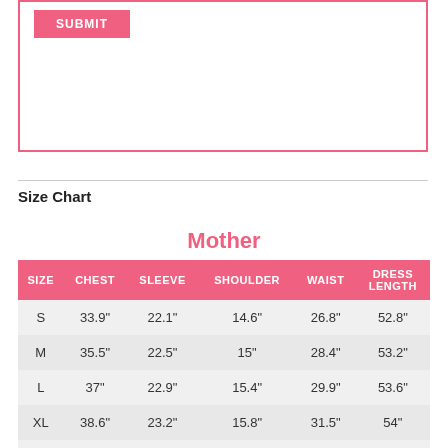[Figure (other): Pink-bordered box with a SUBMIT button inside]
Size Chart
Mother
| SIZE | CHEST | SLEEVE | SHOULDER | WAIST | DRESS LENGTH |
| --- | --- | --- | --- | --- | --- |
| S | 33.9" | 22.1" | 14.6" | 26.8" | 52.8" |
| M | 35.5" | 22.5" | 15" | 28.4" | 53.2" |
| L | 37" | 22.9" | 15.4" | 29.9" | 53.6" |
| XL | 38.6" | 23.2" | 15.8" | 31.5" | 54" |
| 2XL | 40.2" | 23.6" | 16.2" | 33.1" | 54.4" |